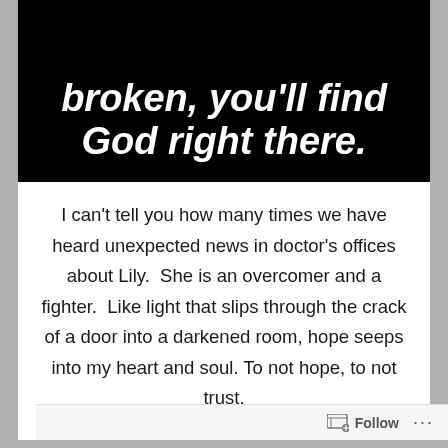[Figure (illustration): Black background image with white bold italic text reading 'broken, you'll find God right there.' (partial, top portion cut off)]
I can't tell you how many times we have heard unexpected news in doctor's offices about Lily.  She is an overcomer and a fighter.  Like light that slips through the crack of a door into a darkened room, hope seeps into my heart and soul. To not hope, to not trust,
Follow ···